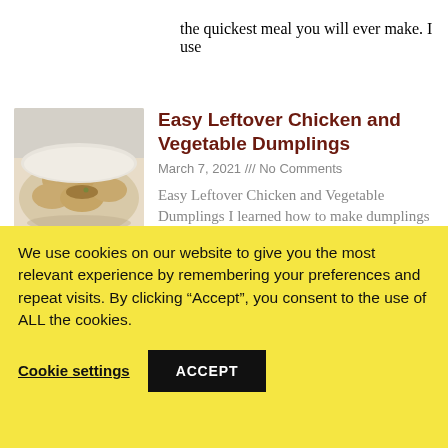the quickest meal you will ever make.  I use
[Figure (photo): Photo of dumplings on a plate]
Easy Leftover Chicken and Vegetable Dumplings
March 7, 2021 /// No Comments
Easy Leftover Chicken and Vegetable Dumplings I learned how to make dumplings in China when I traveled there in 2016.  I've adapted
[Figure (photo): Partial photo of next article visible at bottom]
We use cookies on our website to give you the most relevant experience by remembering your preferences and repeat visits. By clicking “Accept”, you consent to the use of ALL the cookies.
Cookie settings
ACCEPT